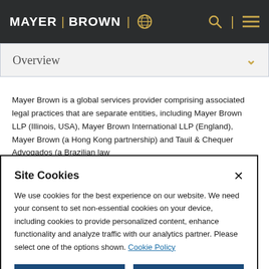MAYER | BROWN
Overview
Mayer Brown is a global services provider comprising associated legal practices that are separate entities, including Mayer Brown LLP (Illinois, USA), Mayer Brown International LLP (England), Mayer Brown (a Hong Kong partnership) and Tauil & Chequer Advogados (a Brazilian law
Site Cookies
We use cookies for the best experience on our website. We need your consent to set non-essential cookies on your device, including cookies to provide personalized content, enhance functionality and analyze traffic with our analytics partner. Please select one of the options shown. Cookie Policy
Accept All | Reject All